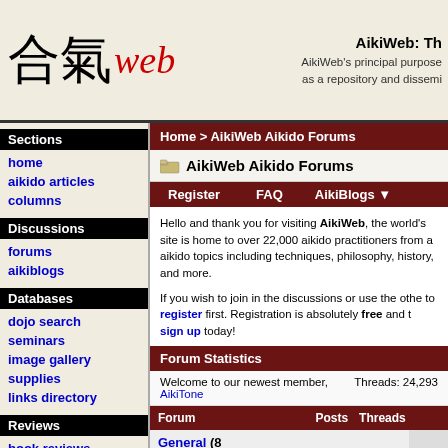AikiWeb: Th... AikiWeb's principal purpose as a repository and dissemi...
Sections
home
aikido articles
columns
Discussions
forums
aikiblogs
Databases
dojo search
seminars
image gallery
supplies
links directory
Reviews
book reviews
Home > AikiWeb Aikido Forums
AikiWeb Aikido Forums
Register   FAQ   AikiBlogs
Hello and thank you for visiting AikiWeb, the world's site is home to over 22,000 aikido practitioners from a aikido topics including techniques, philosophy, history, and more.
If you wish to join in the discussions or use the other to register first. Registration is absolutely free and t sign up today!
Forum Statistics
Welcome to our newest member, AikiTone   Threads: 24,293
| Forum | Posts | Threads |  |
| --- | --- | --- | --- |
| General (8 |  |  |  |